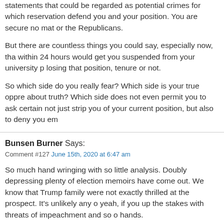statements that could be regarded as potential crimes for which reservation defend you and your position. You are secure no matter or the Republicans.
But there are countless things you could say, especially now, that within 24 hours would get you suspended from your university p losing that position, tenure or not.
So which side do you really fear? Which side is your true oppre about truth? Which side does not even permit you to ask certain not just strip you of your current position, but also to deny you em
Bunsen Burner Says:
Comment #127 June 15th, 2020 at 6:47 am
So much hand wringing with so little analysis. Doubly depressing plenty of election memoirs have come out. We know that Trump family were not exactly thrilled at the prospect. It's unlikely any o yeah, if you up the stakes with threats of impeachment and so o hands.
The thing no Dems seem to have an answer for is why thousa voted twice for Obama, decided to vote for Trump instead. We